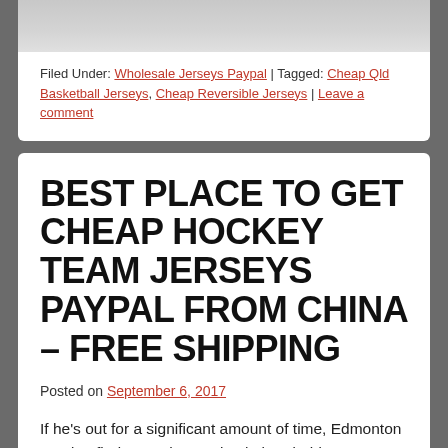[Figure (photo): Partial photo of a person in jeans and white shirt, cropped at torso level]
Filed Under: Wholesale Jerseys Paypal | Tagged: Cheap Qld Basketball Jerseys, Cheap Reversible Jerseys | Leave a comment
BEST PLACE TO GET CHEAP HOCKEY TEAM JERSEYS PAYPAL FROM CHINA – FREE SHIPPING
Posted on September 6, 2017
If he's out for a significant amount of time, Edmonton need to find more than a simple band-aid to Jerseys Wholesale fill the hole created by Eberle's absence. He keeps us all place. Classes Jerseys Supply are pointless, which he later explained was a vent of frustration after receiving a B on exam he thought he had aced. My assistant called and said, 'Hey 'B', this guy called you and said it's emergency.' We